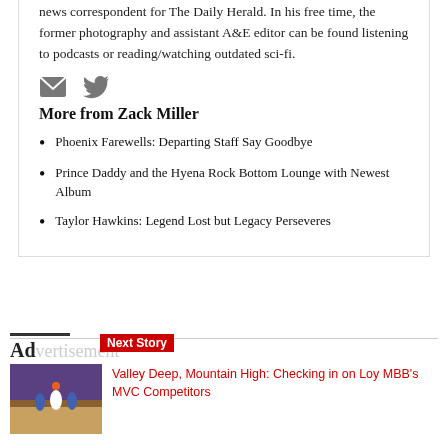news correspondent for The Daily Herald. In his free time, the former photography and assistant A&E editor can be found listening to podcasts or reading/watching outdated sci-fi.
[Figure (other): Email icon (envelope) and Twitter bird icon]
More from Zack Miller
Phoenix Farewells: Departing Staff Say Goodbye
Prince Daddy and the Hyena Rock Bottom Lounge with Newest Album
Taylor Hawkins: Legend Lost but Legacy Perseveres
Advertisement
Next Story
[Figure (photo): Basketball game photo showing players on court]
Valley Deep, Mountain High: Checking in on Loy MBB's MVC Competitors